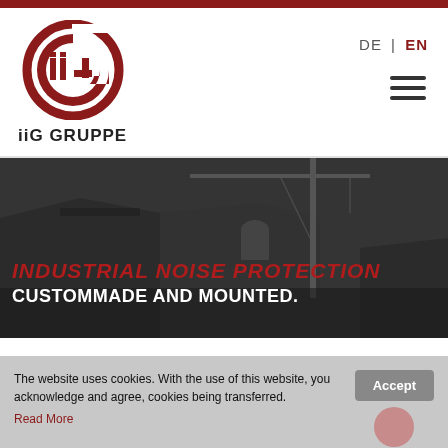[Figure (logo): iiG Gruppe logo — red circle with 'iiG' letters inside]
iiG GRUPPE
DE | EN
[Figure (photo): Black and white hero image of industrial building and construction crane]
INDUSTRIAL NOISE PROTECTION CUSTOMMADE AND MOUNTED.
The website uses cookies. With the use of this website, you acknowledge and agree, cookies being transferred. Read More